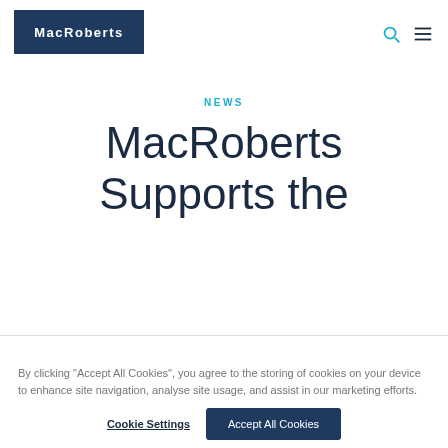[Figure (logo): MacRoberts law firm logo — white text on dark navy background]
NEWS
MacRoberts Supports the
By clicking “Accept All Cookies”, you agree to the storing of cookies on your device to enhance site navigation, analyse site usage, and assist in our marketing efforts.
Cookie Settings | Accept All Cookies